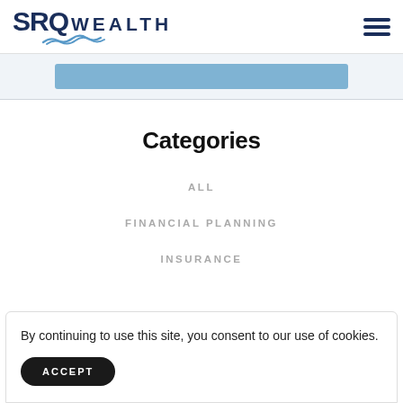SRQ WEALTH
Categories
ALL
FINANCIAL PLANNING
INSURANCE
By continuing to use this site, you consent to our use of cookies.
ACCEPT